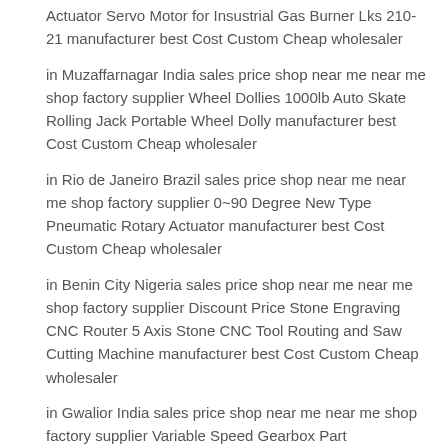Actuator Servo Motor for Insustrial Gas Burner Lks 210-21 manufacturer best Cost Custom Cheap wholesaler
in Muzaffarnagar India sales price shop near me near me shop factory supplier Wheel Dollies 1000lb Auto Skate Rolling Jack Portable Wheel Dolly manufacturer best Cost Custom Cheap wholesaler
in Rio de Janeiro Brazil sales price shop near me near me shop factory supplier 0~90 Degree New Type Pneumatic Rotary Actuator manufacturer best Cost Custom Cheap wholesaler
in Benin City Nigeria sales price shop near me near me shop factory supplier Discount Price Stone Engraving CNC Router 5 Axis Stone CNC Tool Routing and Saw Cutting Machine manufacturer best Cost Custom Cheap wholesaler
in Gwalior India sales price shop near me near me shop factory supplier Variable Speed Gearbox Part